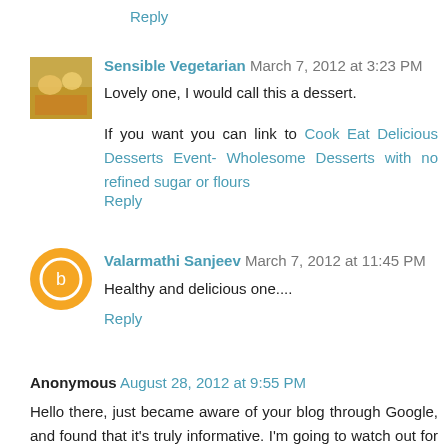Reply
Sensible Vegetarian March 7, 2012 at 3:23 PM
Lovely one, I would call this a dessert.
If you want you can link to Cook Eat Delicious Desserts Event- Wholesome Desserts with no refined sugar or flours
Reply
Valarmathi Sanjeev March 7, 2012 at 11:45 PM
Healthy and delicious one....
Reply
Anonymous August 28, 2012 at 9:55 PM
Hello there, just became aware of your blog through Google, and found that it's truly informative. I'm going to watch out for brussels. I'll be grateful if you